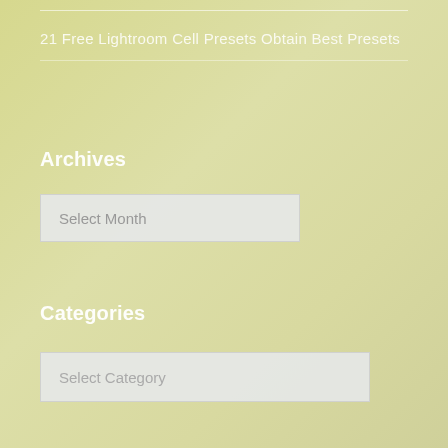21 Free Lightroom Cell Presets Obtain Best Presets
Archives
Select Month
Categories
Select Category